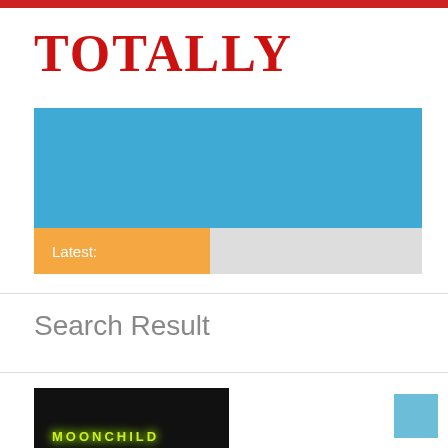Totally
[Figure (other): Blue banner/header area]
Latest:
Search Result
[Figure (photo): Dark image showing neon 'MOONCHILD' text in green/yellow on dark background]